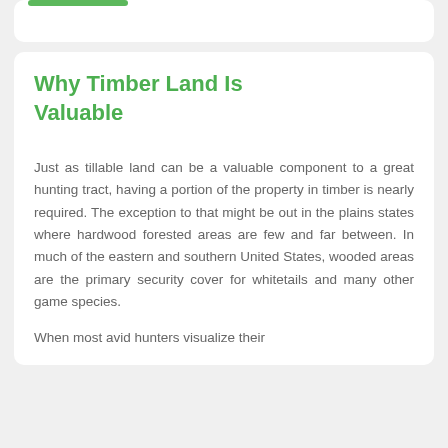Why Timber Land Is Valuable
Just as tillable land can be a valuable component to a great hunting tract, having a portion of the property in timber is nearly required. The exception to that might be out in the plains states where hardwood forested areas are few and far between. In much of the eastern and southern United States, wooded areas are the primary security cover for whitetails and many other game species.
When most avid hunters visualize their